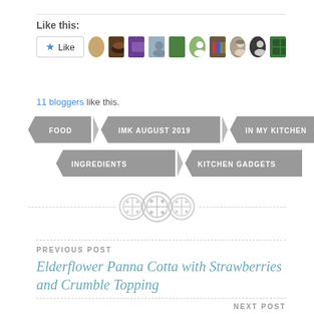Like this:
[Figure (infographic): Like button with star icon and 10 blogger avatars below]
11 bloggers like this.
FOOD
IMK AUGUST 2019
IN MY KITCHEN
INGREDIENTS
KITCHEN GADGETS
PREVIOUS POST
Elderflower Panna Cotta with Strawberries and Crumble Topping
NEXT POST
Tomato Tart with Roasted Garlic and Feta